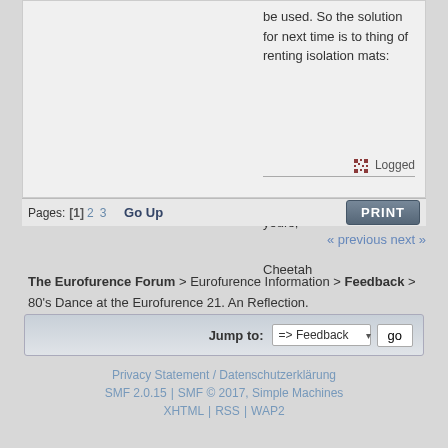be used. So the solution for next time is to thing of renting isolation mats:
Logged
yours,

Cheetah
Pages: [1] 2 3   Go Up
« previous next »
The Eurofurence Forum > Eurofurence Information > Feedback > 80's Dance at the Eurofurence 21. An Reflection.
Jump to: => Feedback  go
Privacy Statement / Datenschutzerklärung
SMF 2.0.15 | SMF © 2017, Simple Machines
XHTML | RSS | WAP2